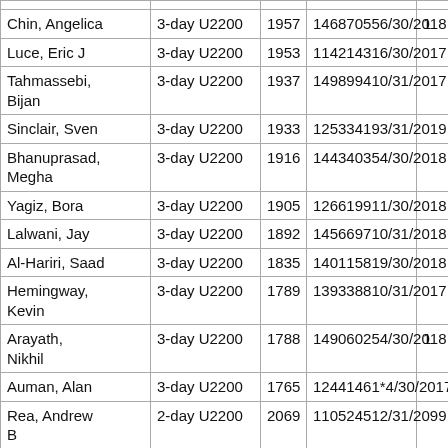| Name | Type | Rating | ID | Expiry |  |
| --- | --- | --- | --- | --- | --- |
| Chin, Angelica | 3-day U2200 | 1957 | 14687055 | 6/30/2018 | 1 |
| Luce, Eric J | 3-day U2200 | 1953 | 11421431 | 6/30/2017 |  |
| Tahmassebi, Bijan | 3-day U2200 | 1937 | 14989940 | 10/31/2017 |  |
| Sinclair, Sven | 3-day U2200 | 1933 | 12533419 | 3/31/2019 |  |
| Bhanuprasad, Megha | 3-day U2200 | 1916 | 14434035 | 4/30/2018 |  |
| Yagiz, Bora | 3-day U2200 | 1905 | 12661990 | 11/30/2018 |  |
| Lalwani, Jay | 3-day U2200 | 1892 | 14566972 | 10/31/2018 |  |
| Al-Hariri, Saad | 3-day U2200 | 1835 | 14011581 | 9/30/2018 |  |
| Hemingway, Kevin | 3-day U2200 | 1789 | 13933883 | 10/31/2017 |  |
| Arayath, Nikhil | 3-day U2200 | 1788 | 14906025 | 4/30/2018 | 1 |
| Auman, Alan | 3-day U2200 | 1765 | 12441461 | *4/30/2017 |  |
| Rea, Andrew B | 2-day U2200 | 2069 | 11052452 | 12/31/2099 |  |
| Zheng, | 3-day U2200 | 2044 | 13845484 | 5/31/2017 |  |